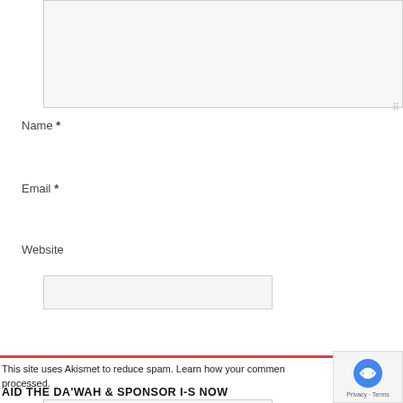[Figure (screenshot): A textarea input box with light gray background and border, with a resize handle in the bottom-right corner]
Name *
[Figure (screenshot): Name text input field with light gray background and border]
Email *
[Figure (screenshot): Email text input field with light gray background and border]
Website
[Figure (screenshot): Website text input field with light gray background and border]
[Figure (screenshot): Red 'Post Comment' button]
This site uses Akismet to reduce spam. Learn how your comment data is processed.
AID THE DA'WAH & SPONSOR I-S NOW
[Figure (screenshot): reCAPTCHA widget box showing robot icon and 'Privacy - Terms' text]